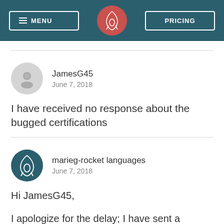MENU | [logo] | PRICING
JamesG45
June 7, 2018
I have received no response about the bugged certifications
marieg-rocket languages
June 7, 2018
Hi JamesG45,

I apologize for the delay; I have sent a